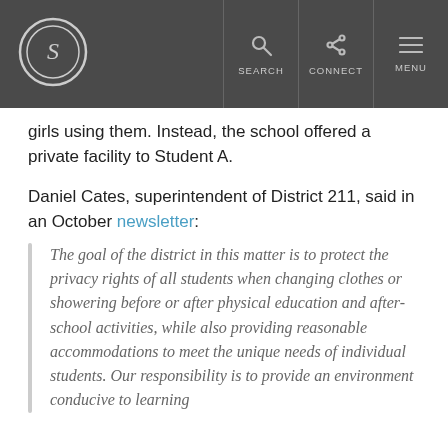S [logo] | SEARCH | CONNECT | MENU
girls using them. Instead, the school offered a private facility to Student A.
Daniel Cates, superintendent of District 211, said in an October newsletter:
The goal of the district in this matter is to protect the privacy rights of all students when changing clothes or showering before or after physical education and after-school activities, while also providing reasonable accommodations to meet the unique needs of individual students. Our responsibility is to provide an environment conducive to learning for all its 12,000 students.